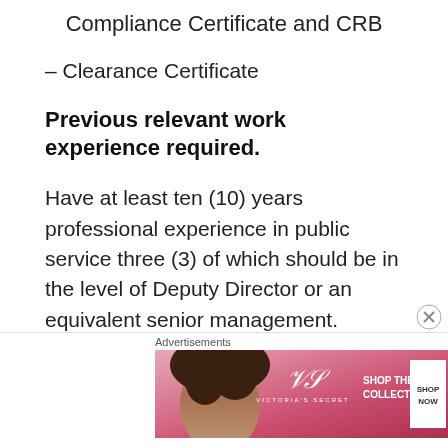Compliance Certificate and CRB
– Clearance Certificate
Previous relevant work experience required.
Have at least ten (10) years professional experience in public service three (3) of which should be in the level of Deputy Director or an equivalent senior management.
or
[Figure (other): Advertisement banner for Victoria's Secret showing a woman's face on the left, VS logo in center, 'SHOP THE COLLECTION' text, and a 'SHOP NOW' button on the right. Labeled 'Advertisements' above.]